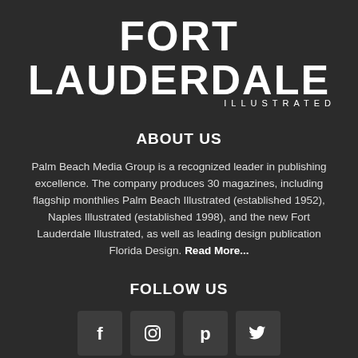FORT LAUDERDALE ILLUSTRATED
ABOUT US
Palm Beach Media Group is a recognized leader in publishing excellence. The company produces 30 magazines, including flagship monthlies Palm Beach Illustrated (established 1952), Naples Illustrated (established 1998), and the new Fort Lauderdale Illustrated, as well as leading design publication Florida Design. Read More...
FOLLOW US
[Figure (infographic): Four social media icon buttons in dark boxes: Facebook (f), Instagram (camera), Pinterest (p), Twitter (bird)]